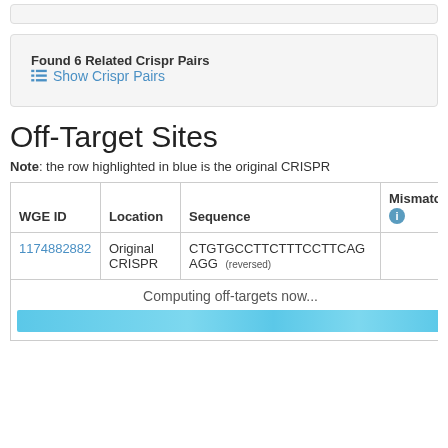Found 6 Related Crispr Pairs
Show Crispr Pairs
Off-Target Sites
Note: the row highlighted in blue is the original CRISPR
| WGE ID | Location | Sequence | Mismatch |
| --- | --- | --- | --- |
| 1174882882 | Original CRISPR | CTGTGCCTTCTTTCCTTCAG AGG (reversed) |  |
Computing off-targets now...